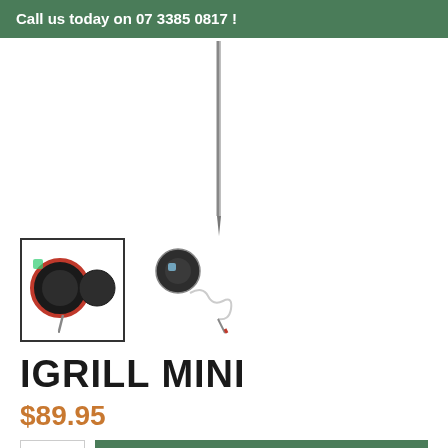Call us today on 07 3385 0817 !
[Figure (photo): Close-up of a thermometer probe/needle pointing downward, silver metallic, on white background]
[Figure (photo): Thumbnail 1 (selected with border): iGrill Mini device - black circular unit with red ring and probe needle]
[Figure (photo): Thumbnail 2: iGrill Mini with white coiled wire and probe]
IGRILL MINI
$89.95
ADD TO CART